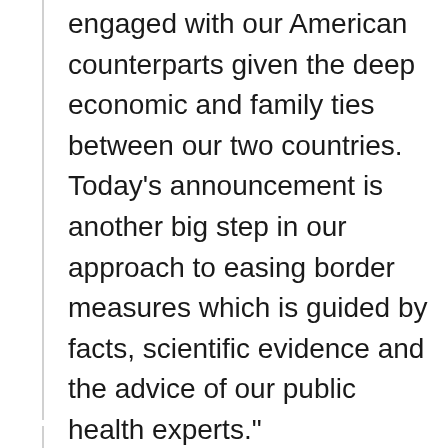engaged with our American counterparts given the deep economic and family ties between our two countries. Today's announcement is another big step in our approach to easing border measures which is guided by facts, scientific evidence and the advice of our public health experts."
The Honourable Bill Blair
Minister of Public Safety and Emergency Preparedness